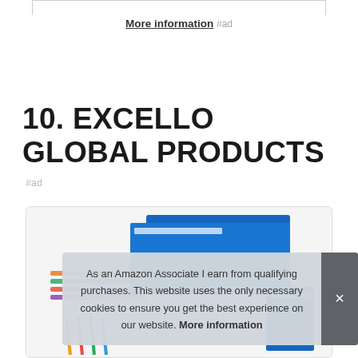More information #ad
10. EXCELLO GLOBAL PRODUCTS
#ad
[Figure (photo): Product image of Excello Global Products showing file folders and stationery items]
As an Amazon Associate I earn from qualifying purchases. This website uses the only necessary cookies to ensure you get the best experience on our website. More information